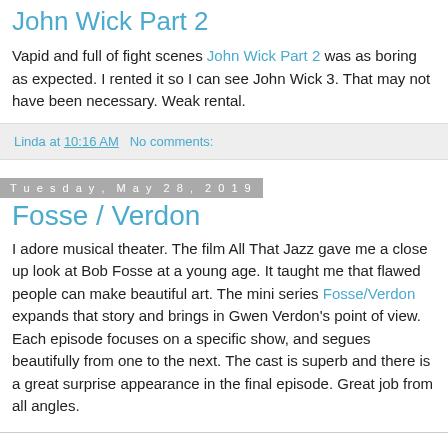John Wick Part 2
Vapid and full of fight scenes John Wick Part 2 was as boring as expected. I rented it so I can see John Wick 3. That may not have been necessary. Weak rental.
Linda at 10:16 AM   No comments:
Tuesday, May 28, 2019
Fosse / Verdon
I adore musical theater. The film All That Jazz gave me a close up look at Bob Fosse at a young age. It taught me that flawed people can make beautiful art. The mini series Fosse/Verdon expands that story and brings in Gwen Verdon's point of view. Each episode focuses on a specific show, and segues beautifully from one to the next. The cast is superb and there is a great surprise appearance in the final episode. Great job from all angles.